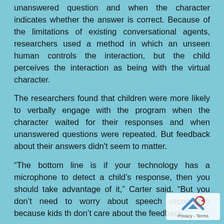unanswered question and when the character indicates whether the answer is correct. Because of the limitations of existing conversational agents, researchers used a method in which an unseen human controls the interaction, but the child perceives the interaction as being with the virtual character.
The researchers found that children were more likely to verbally engage with the program when the character waited for their responses and when unanswered questions were repeated. But feedback about their answers didn't seem to matter.
“The bottom line is if your technology has a microphone to detect a child’s response, then you should take advantage of it,” Carter said. “But you don’t need to worry about speech recognition because kids th don’t care about the feedback.”